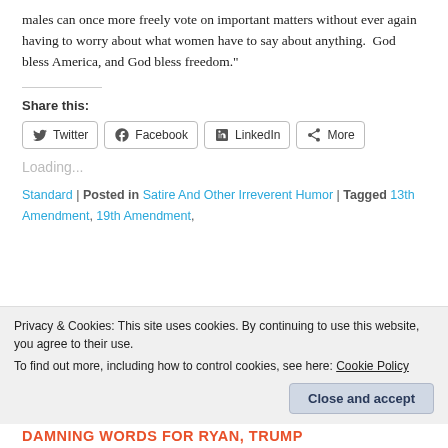males can once more freely vote on important matters without ever again having to worry about what women have to say about anything.  God bless America, and God bless freedom."
Share this:
[Figure (other): Social share buttons: Twitter, Facebook, LinkedIn, More]
Loading...
Standard | Posted in Satire And Other Irreverent Humor | Tagged 13th Amendment, 19th Amendment,
Privacy & Cookies: This site uses cookies. By continuing to use this website, you agree to their use.
To find out more, including how to control cookies, see here: Cookie Policy
Close and accept
DAMNING WORDS FOR RYAN, TRUMP